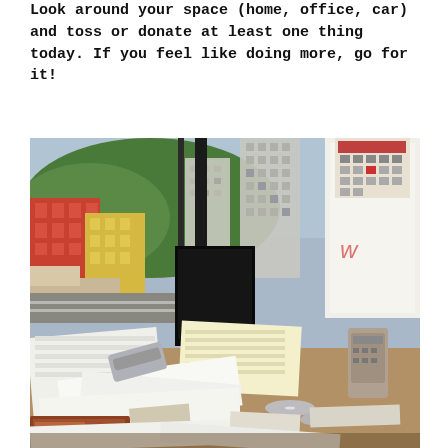Look around your space (home, office, car) and toss or donate at least one thing today. If you feel like doing more, go for it!
[Figure (photo): A cluttered office desk covered with stacks of papers, CDs, books, a monitor, and various items. Through the window behind the desk, colorful residential buildings, a highway, and green hills are visible. A whiteboard is on the right wall with a calendar pinned above it.]